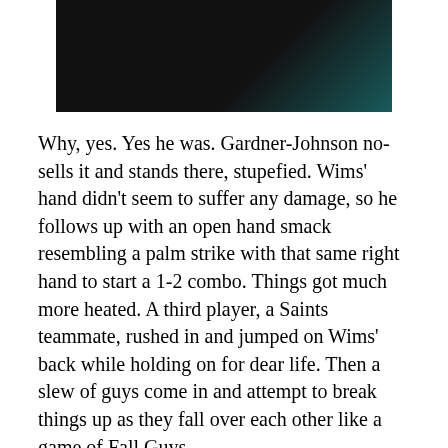[Figure (photo): Dark photograph, partially visible at top of page, showing a dark figure against a dark background with a slight teal/blue tint in the corner.]
Why, yes. Yes he was. Gardner-Johnson no-sells it and stands there, stupefied. Wims' hand didn't seem to suffer any damage, so he follows up with an open hand smack resembling a palm strike with that same right hand to start a 1-2 combo. Things got much more heated. A third player, a Saints teammate, rushed in and jumped on Wims' back while holding on for dear life. Then a slew of guys come in and attempt to break things up as they fall over each other like a game of Fall Guys.
We should note that Wims has apparently not been a stranger to this sort of situation, seeing as he had an altercation a while back of a similar nature. And that